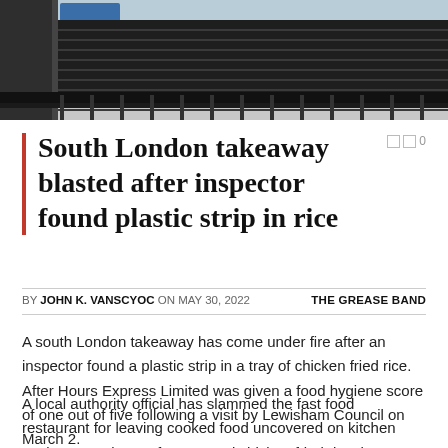[Figure (photo): Photograph of a building exterior showing dark horizontal shutters/roller doors and metal fencing, with a glimpse of blue sky at top.]
South London takeaway blasted after inspector found plastic strip in rice
BY JOHN K. VANSCYOC ON MAY 30, 2022    THE GREASE BAND
A south London takeaway has come under fire after an inspector found a plastic strip in a tray of chicken fried rice. After Hours Express Limited was given a food hygiene score of one out of five following a visit by Lewisham Council on March 2.
A local authority official has slammed the fast food restaurant for leaving cooked food uncovered on kitchen worktops. A platter of uncovered chicken fried rice that was temperature checked by